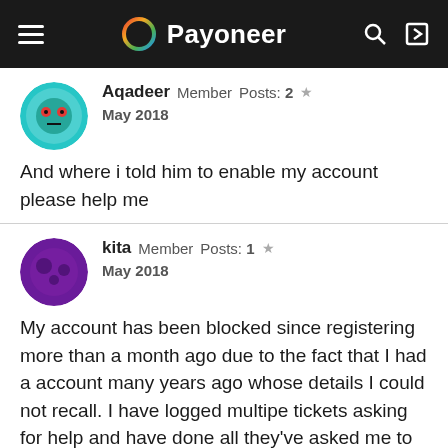Payoneer
Aqadeer   Member   Posts: 2   ★
May 2018
And where i told him to enable my account please help me
kita   Member   Posts: 1   ★
May 2018
My account has been blocked since registering more than a month ago due to the fact that I had a account many years ago whose details I could not recall. I have logged multipe tickets asking for help and have done all they've asked me to do, but still account. They said its been forwarded to the correct department but that was 2 weeks ago. I do